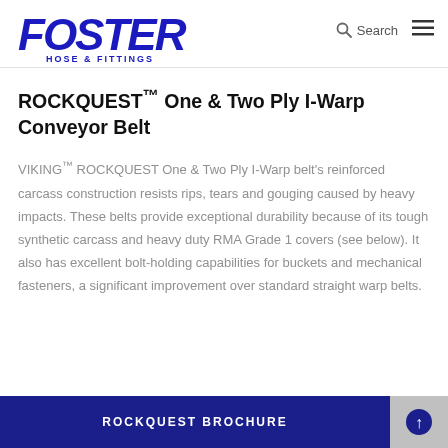[Figure (logo): Foster Hose & Fittings logo in blue with italic FOSTER text and HOSE & FITTINGS subtitle]
ROCKQUEST™ One & Two Ply I-Warp Conveyor Belt
VIKING™ ROCKQUEST One & Two Ply I-Warp belt's reinforced carcass construction resists rips, tears and gouging caused by heavy impacts. These belts provide exceptional durability because of its tough synthetic carcass and heavy duty RMA Grade 1 covers (see below). It also has excellent bolt-holding capabilities for buckets and mechanical fasteners, a significant improvement over standard straight warp belts.
ROCKQUEST BROCHURE